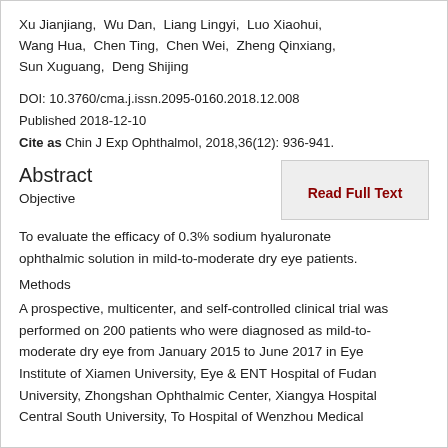Xu Jianjiang,  Wu Dan,  Liang Lingyi,  Luo Xiaohui,  Wang Hua,  Chen Ting,  Chen Wei,  Zheng Qinxiang,  Sun Xuguang,  Deng Shijing
DOI: 10.3760/cma.j.issn.2095-0160.2018.12.008
Published 2018-12-10
Cite as Chin J Exp Ophthalmol, 2018,36(12): 936-941.
Abstract
Read Full Text
Objective
To evaluate the efficacy of 0.3% sodium hyaluronate ophthalmic solution in mild-to-moderate dry eye patients.
Methods
A prospective, multicenter, and self-controlled clinical trial was performed on 200 patients who were diagnosed as mild-to-moderate dry eye from January 2015 to June 2017 in Eye Institute of Xiamen University, Eye & ENT Hospital of Fudan University, Zhongshan Ophthalmic Center, Xiangya Hospital Central South University, To Hospital of Wenzhou Medical